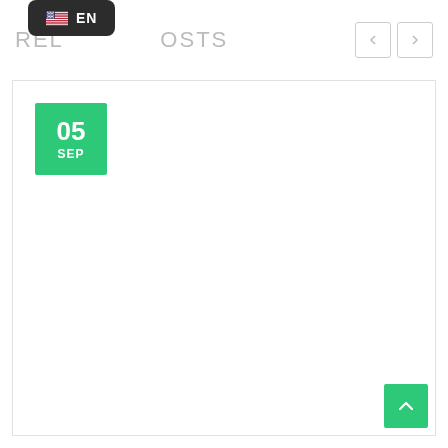[Figure (screenshot): Language selector dropdown showing US flag and EN text on dark background]
RELATED POSTS
[Figure (other): Navigation arrows (previous/next) buttons with light border]
[Figure (other): Date badge showing 05 SEP in green square]
[Figure (other): Back to top button in green at bottom right corner]